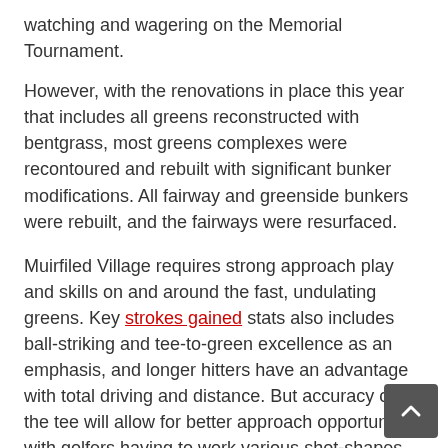watching and wagering on the Memorial Tournament.
However, with the renovations in place this year that includes all greens reconstructed with bentgrass, most greens complexes were recontoured and rebuilt with significant bunker modifications. All fairway and greenside bunkers were rebuilt, and the fairways were resurfaced.
Muirfiled Village requires strong approach play and skills on and around the fast, undulating greens. Key strokes gained stats also includes ball-striking and tee-to-green excellence as an emphasis, and longer hitters have an advantage with total driving and distance. But accuracy of the tee will allow for better approach opportunities with golfers having to work various shot-shapes into the greens.